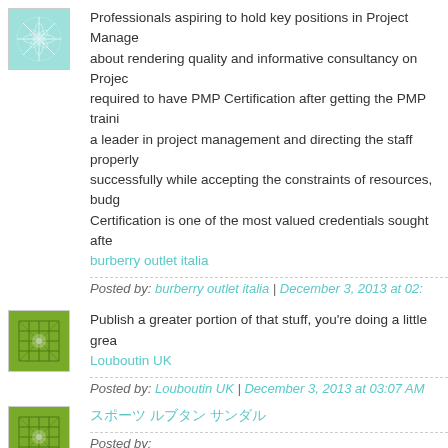Professionals aspiring to hold key positions in Project Management about rendering quality and informative consultancy on Project... required to have PMP Certification after getting the PMP training... a leader in project management and directing the staff properly... successfully while accepting the constraints of resources, budget... Certification is one of the most valued credentials sought after...
burberry outlet italia
Posted by: burberry outlet italia | December 3, 2013 at 02:...
Publish a greater portion of that stuff, you're doing a little grea...
Louboutin UK
Posted by: Louboutin UK | December 3, 2013 at 03:07 AM...
スポーツ ルブタン サンダル
Posted by: http://www.mad4tech.com/%E3%83%AB%E3%83%9F%... %E6%99%82%E8%A8%88-c-13.html | December 3, 201...
A Mini-Tour of Savannah - A Dose of the Delightful hmcnlo...